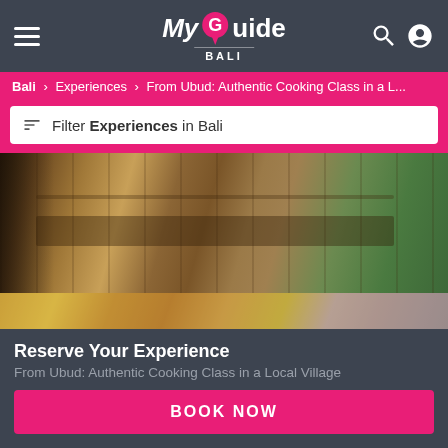My Guide BALI
Bali > Experiences > From Ubud: Authentic Cooking Class in a L...
Filter Experiences in Bali
[Figure (photo): Balinese cooking class kitchen with wooden workstations and ingredients on counter]
[Figure (photo): Close-up of hands working with food ingredients on a cooking surface]
Reserve Your Experience
From Ubud: Authentic Cooking Class in a Local Village
BOOK NOW